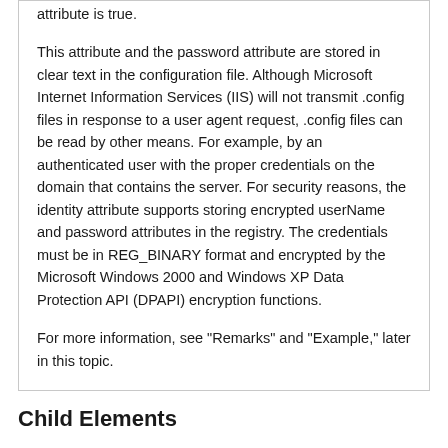attribute is true.

This attribute and the password attribute are stored in clear text in the configuration file. Although Microsoft Internet Information Services (IIS) will not transmit .config files in response to a user agent request, .config files can be read by other means. For example, by an authenticated user with the proper credentials on the domain that contains the server. For security reasons, the identity attribute supports storing encrypted userName and password attributes in the registry. The credentials must be in REG_BINARY format and encrypted by the Microsoft Windows 2000 and Windows XP Data Protection API (DPAPI) encryption functions.

For more information, see "Remarks" and "Example," later in this topic.
Child Elements